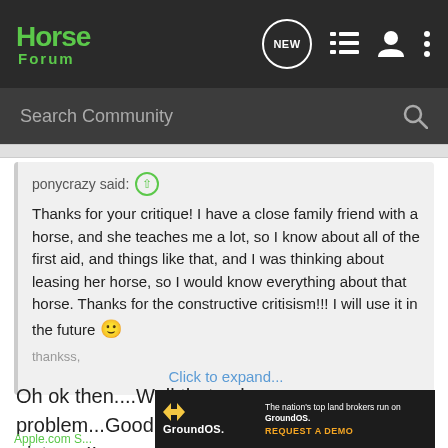[Figure (screenshot): Horse Forum navigation bar with logo, NEW chat icon, list icon, profile icon, and menu dots]
[Figure (screenshot): Search Community search bar with magnifying glass icon]
ponycrazy said: ↑
Thanks for your critique! I have a close family friend with a horse, and she teaches me a lot, so I know about all of the first aid, and things like that, and I was thinking about leasing her horse, so I would know everything about that horse. Thanks for the constructive critisism!!! I will use it in the future 🙂

thankss,
Click to expand...
Oh ok then....Well that solves our problem...Good luck....Oh and i wanna see pictures!!
[Figure (screenshot): GroundOS advertisement banner: The nation's top land brokers run on GroundOS. REQUEST A DEMO]
Apple.com S...